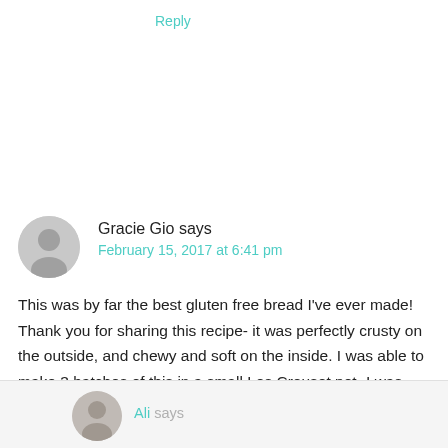Reply
Gracie Gio says
February 15, 2017 at 6:41 pm
This was by far the best gluten free bread I've ever made! Thank you for sharing this recipe- it was perfectly crusty on the outside, and chewy and soft on the inside. I was able to make 3 batches of this in a small Les Creuset pot- I was wondering if it would work as well if I used all of the dough from this recipe in one large pot?
Reply
Ali says